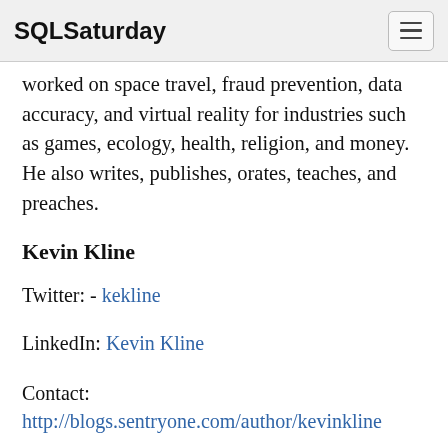SQLSaturday
worked on space travel, fraud prevention, data accuracy, and virtual reality for industries such as games, ecology, health, religion, and money. He also writes, publishes, orates, teaches, and preaches.
Kevin Kline
Twitter:  -  kekline
LinkedIn: Kevin Kline
Contact:
http://blogs.sentryone.com/author/kevinkline